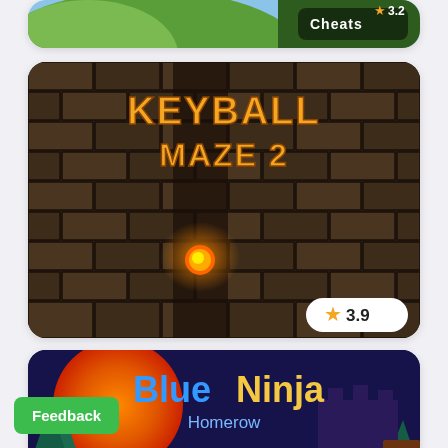[Figure (screenshot): Top partial card showing a green landscape game screenshot with a 'Cheats' badge and 3.2 star rating in top right corner]
[Figure (screenshot): Keyball Maze 2 game card - dark stone brick maze background with orange/yellow title text 'KEYBALL MAZE 2', glowing fireball character in center, rating badge showing 3.9 stars]
[Figure (screenshot): Blue Ninja Homerow game card - dark purple night sky with large orange/red moon, pine trees, castle silhouette, Blue Ninja text in blue and yellow, keyboard letters D, J, F, K visible]